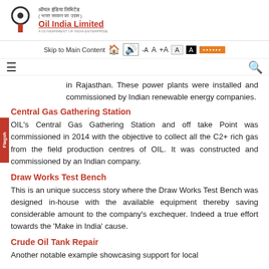[Figure (logo): Oil India Limited logo with Hindi text and red/black branding]
Skip to Main Content  -A  A  +A  A  A  [Hindi text]
Hamburger menu icon and search icon toolbar
in Rajasthan. These power plants were installed and commissioned by Indian renewable energy companies.
Central Gas Gathering Station
OIL's Central Gas Gathering Station and off take Point was commissioned in 2014 with the objective to collect all the C2+ rich gas from the field production centres of OIL. It was constructed and commissioned by an Indian company.
Draw Works Test Bench
This is an unique success story where the Draw Works Test Bench was designed in-house with the available equipment thereby saving considerable amount to the company's exchequer. Indeed a true effort towards the 'Make in India' cause.
Crude Oil Tank Repair
Another notable example showcasing support for local